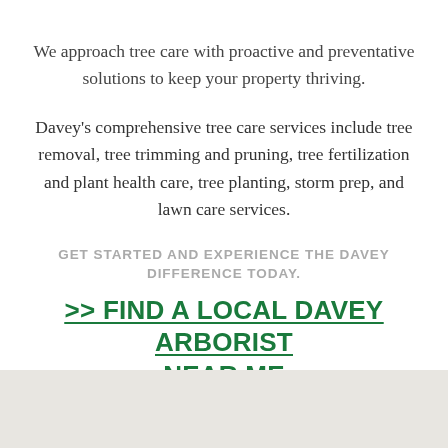We approach tree care with proactive and preventative solutions to keep your property thriving.
Davey's comprehensive tree care services include tree removal, tree trimming and pruning, tree fertilization and plant health care, tree planting, storm prep, and lawn care services.
GET STARTED AND EXPERIENCE THE DAVEY DIFFERENCE TODAY.
>> FIND A LOCAL DAVEY ARBORIST NEAR ME